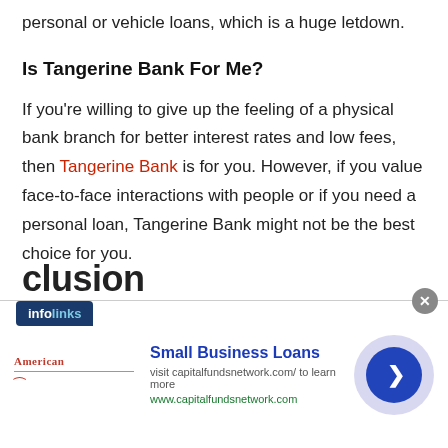personal or vehicle loans, which is a huge letdown.
Is Tangerine Bank For Me?
If you're willing to give up the feeling of a physical bank branch for better interest rates and low fees, then Tangerine Bank is for you. However, if you value face-to-face interactions with people or if you need a personal loan, Tangerine Bank might not be the best choice for you.
[Figure (other): Advertisement overlay showing infolinks badge and Small Business Loans ad from capitalfundsnetwork.com, with a close button and forward arrow navigation button.]